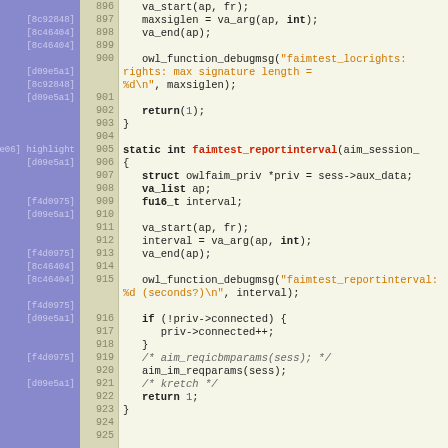[Figure (screenshot): Source code viewer showing C code lines 896-925 with line numbers, git blame hashes in left gutter, and syntax highlighting. Functions shown include faimtest_locrights and faimtest_reportinterval.]